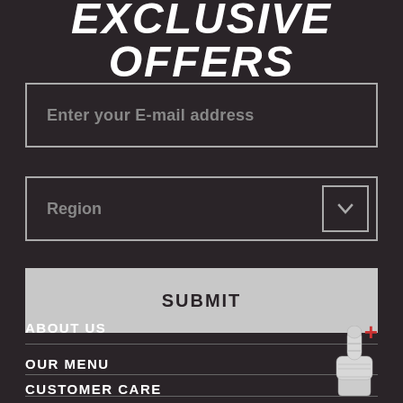EXCLUSIVE OFFERS
Enter your E-mail address
Region
SUBMIT
ABOUT US
OUR MENU
CUSTOMER CARE